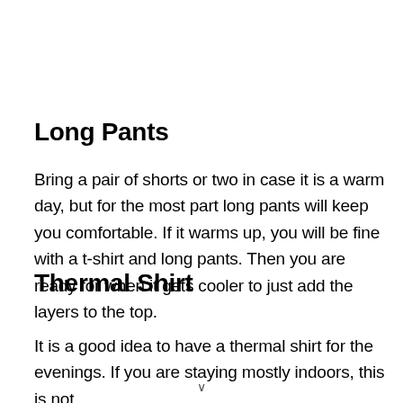Long Pants
Bring a pair of shorts or two in case it is a warm day, but for the most part long pants will keep you comfortable. If it warms up, you will be fine with a t-shirt and long pants. Then you are ready for when it gets cooler to just add the layers to the top.
Thermal Shirt
It is a good idea to have a thermal shirt for the evenings. If you are staying mostly indoors, this is not